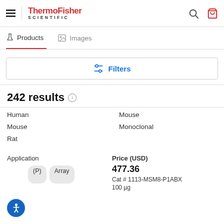[Figure (screenshot): ThermoFisher Scientific website header with hamburger menu, logo, search icon, and cart icon]
Products | Images
Filters
242 results
|  |  |
| --- | --- |
| Human | Mouse |
| Mouse | Monoclonal |
| Rat |  |
Application
Price (USD)
(P)  Array
477.36
Cat # 1113-MSM8-P1ABX
100 µg